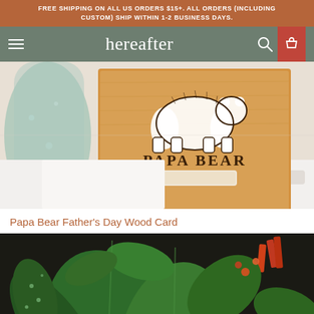FREE SHIPPING ON ALL US ORDERS $15+. ALL ORDERS (INCLUDING CUSTOM) SHIP WITHIN 1-2 BUSINESS DAYS.
hereafter
[Figure (photo): A wooden card with 'PAPA BEAR' engraved and a bear illustration on it, displayed in a wooden stand, next to a glass vase, on a white surface.]
Papa Bear Father's Day Wood Card
[Figure (photo): Close-up photo of green tropical plants with orange flowers against a dark background.]